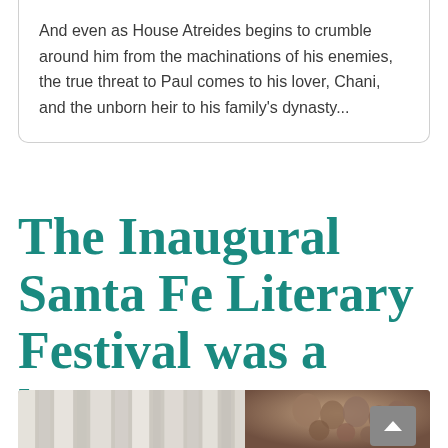And even as House Atreides begins to crumble around him from the machinations of his enemies, the true threat to Paul comes to his lover, Chani, and the unborn heir to his family's dynasty...
The Inaugural Santa Fe Literary Festival was a huge success!
[Figure (photo): A split photo: left side shows light streaming through white curtains creating vertical bars of light; right side shows a bronze relief sculpture of multiple figures grouped together.]